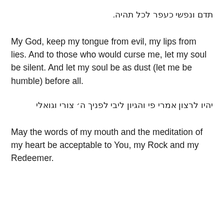תדם ונפשי כעפר לכל תהיה.
My God, keep my tongue from evil, my lips from lies. And to those who would curse me, let my soul be silent. And let my soul be as dust (let me be humble) before all.
יהיו לרצון אמרי פי והגיון ליבי לפניך ה׳ צורי וגואלי
May the words of my mouth and the meditation of my heart be acceptable to You, my Rock and my Redeemer.